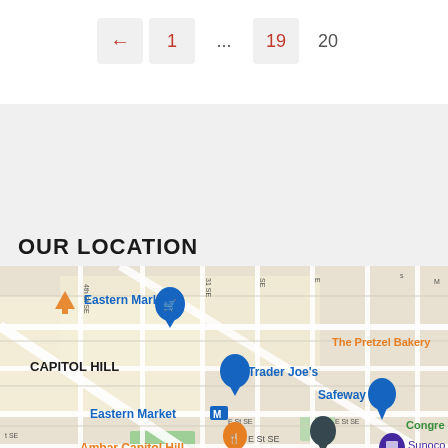← 1 ... 19 20
OUR LOCATION
[Figure (map): Google Maps view of Capitol Hill area in Washington DC, showing Eastern Market, Trader Joe's, Ambar Capitol Hill, Marine Barracks, Safeway, Sunoco Gas Station, Potomac Ave Metro, and The Pretzel Bakery landmarks.]
930 Pennsylvania Avenue SE